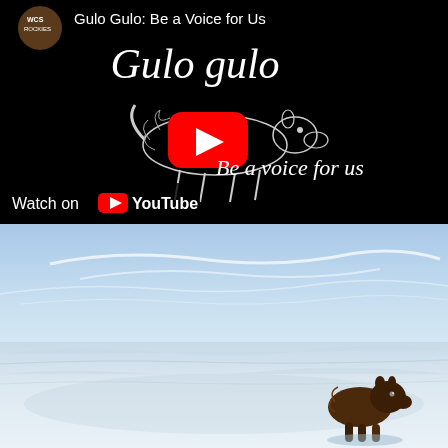[Figure (screenshot): YouTube video thumbnail for 'Gulo Gulo: Be a Voice for Us'. Black background with italic white text 'Gulo gulo' at top right, a pen-and-ink sketch of a wolverine/gulo gulo animal in the center with a red YouTube play button overlaid, italic white text 'Be a voice for us' below the animal. Top left shows WCS Rockies channel avatar icon and text 'Gulo Gulo: Be a Voice for Us'. Bottom left overlay shows 'Watch on [YouTube logo] YouTube' on dark background.]
[Figure (photo): Photograph of a wolverine (Gulo gulo) standing on a snowy, icy landscape under a blue sky with wispy clouds. The animal is in the lower right portion of the image, dark brown fur, looking toward the camera. The snow extends across the entire foreground.]